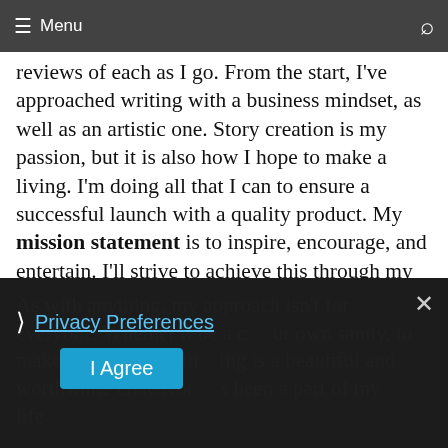Menu
reviews of each as I go. From the start, I've approached writing with a business mindset, as well as an artistic one. Story creation is my passion, but it is also how I hope to make a living. I'm doing all that I can to ensure a successful launch with a quality product. My mission statement is to inspire, encourage, and entertain. I'll strive to achieve this through my novels while ensuring they are as good as, or better than, what you'd expect from a major publisher. Viewing this as my dream career, one that would be fulfilling and provide for my family, I'm taking it very seriously. I'm putting my entrepreneurial mind to use and building a business.
As with anything, my approach isn't for everyone. Whether it be a c… ur own sanity, to make money, or all th… ing is a beautiful and worthwhile endeavor… s been a part of my life…
Privacy Preferences
I Agree